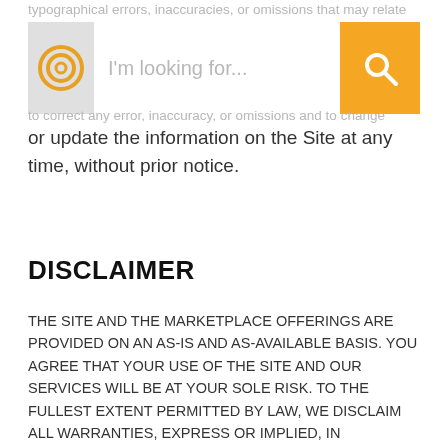typographical errors, inaccuracies, or omissions that may relate
[Figure (screenshot): Search bar UI with circular logo icon on left, 'I'm looking for...' placeholder text in white input field, and orange search button with magnifying glass icon on right]
to correct any error, inaccuracy, or omissions and to change or update the information on the Site at any time, without prior notice.
DISCLAIMER
THE SITE AND THE MARKETPLACE OFFERINGS ARE PROVIDED ON AN AS-IS AND AS-AVAILABLE BASIS. YOU AGREE THAT YOUR USE OF THE SITE AND OUR SERVICES WILL BE AT YOUR SOLE RISK. TO THE FULLEST EXTENT PERMITTED BY LAW, WE DISCLAIM ALL WARRANTIES, EXPRESS OR IMPLIED, IN CONNECTION WITH THE SITE AND THE MARKETPLACE OFFERINGS AND YOUR USE THEREOF, INCLUDING, WITHOUT LIMITATION, THE IMPLIED WARRANTIES OF MERCHANTABILITY, FITNESS FOR A PARTICULAR PURPOSE, AND NON-INFRINGEMENT. WE MAKE NO WARRANTIES OR REPRESENTATIONS ABOUT